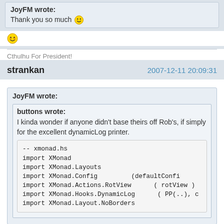JoyFM wrote: Thank you so much :)
:D
Cthulhu For President!
strankan   2007-12-11 20:09:31
JoyFM wrote:
buttons wrote:
I kinda wonder if anyone didn't base theirs off Rob's, if simply for the excellent dynamicLog printer.
-- xmonad.hs
import XMonad
import XMonad.Layouts
import XMonad.Config         (defaultConfi
import XMonad.Actions.RotView  ( rotView )
import XMonad.Hooks.DynamicLog ( PP(..), c
import XMonad.Layout.NoBorders